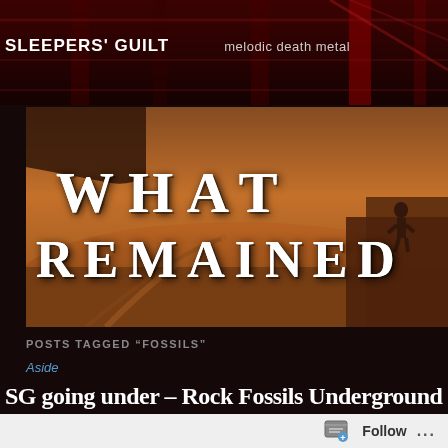SLEEPERS' GUILT   melodic death metal
[Figure (photo): Album art image reading 'WHAT REMAINED' in large serif white text over a desert landscape with a silhouette figure standing on a cliff edge, warm orange/brown tones]
POSTS TAGGED “FOSSILS”
Aside
SG going under – Rock Fossils Underground
Follow ...